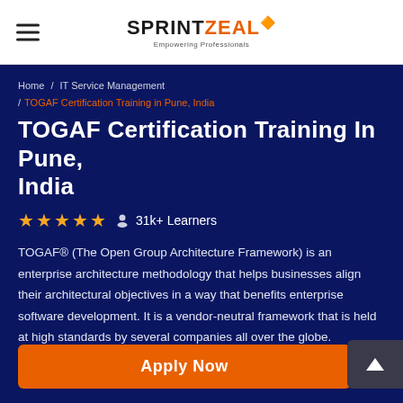[Figure (logo): SprintZeal logo with hamburger menu icon on the left in white header bar]
Home / IT Service Management / TOGAF Certification Training in Pune, India
TOGAF Certification Training In Pune, India
★★★★★  👤 31k+ Learners
TOGAF® (The Open Group Architecture Framework) is an enterprise architecture methodology that helps businesses align their architectural objectives in a way that benefits enterprise software development. It is a vendor-neutral framework that is held at high standards by several companies all over the globe.
Apply Now